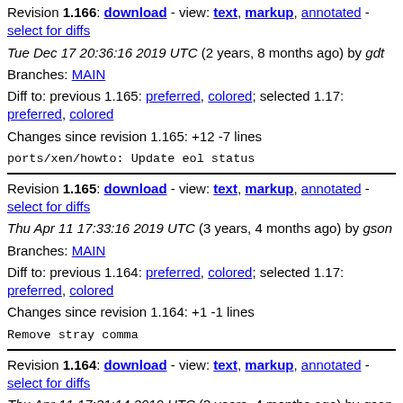Revision 1.166: download - view: text, markup, annotated - select for diffs
Tue Dec 17 20:36:16 2019 UTC (2 years, 8 months ago) by gdt
Branches: MAIN
Diff to: previous 1.165: preferred, colored; selected 1.17: preferred, colored
Changes since revision 1.165: +12 -7 lines
ports/xen/howto: Update eol status
Revision 1.165: download - view: text, markup, annotated - select for diffs
Thu Apr 11 17:33:16 2019 UTC (3 years, 4 months ago) by gson
Branches: MAIN
Diff to: previous 1.164: preferred, colored; selected 1.17: preferred, colored
Changes since revision 1.164: +1 -1 lines
Remove stray comma
Revision 1.164: download - view: text, markup, annotated - select for diffs
Thu Apr 11 17:31:14 2019 UTC (3 years, 4 months ago) by gson
Branches: MAIN
Diff to: previous 1.163: preferred, colored; selected 1.17: preferred, colored, colored